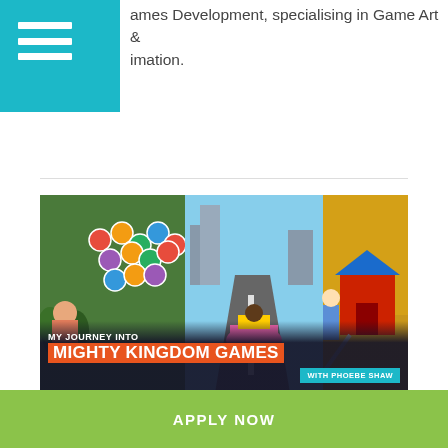ames Development, specialising in Game Art & imation.
[Figure (illustration): Promotional banner image for 'My Journey Into Mighty Kingdom Games with Phoebe Shaw', showing three game screenshots: bubble shooter with colorful balls, a racing/driving game with cartoon character, and a farm building scene. An orange diagonal banner reads 'MY JOURNEY INTO MIGHTY KINGDOM GAMES' and a teal badge says 'WITH PHOEBE SHAW'.]
MY JOURNEY INTO MIGHTY KINGDOM GAMES – PHOEBE SHAW
APPLY NOW